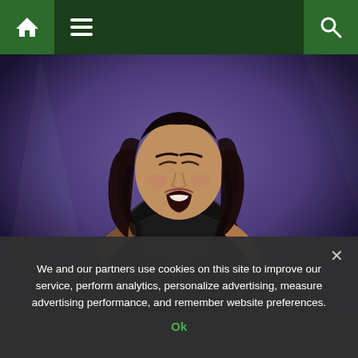Navigation bar with home, menu, and search icons
[Figure (photo): A female singer performing on stage, holding a microphone, wearing a black lace outfit, with long dark wavy hair, mouth open singing, purple stage lighting in background]
We and our partners use cookies on this site to improve our service, perform analytics, personalize advertising, measure advertising performance, and remember website preferences.
Ok